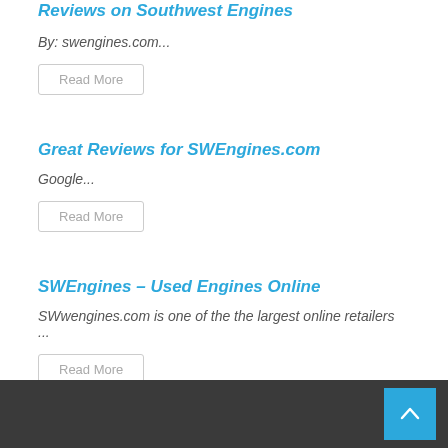Reviews on Southwest Engines
By: swengines.com...
Read More
Great Reviews for SWEngines.com
Google...
Read More
SWEngines – Used Engines Online
SWwengines.com is one of the the largest online retailers ...
Read More